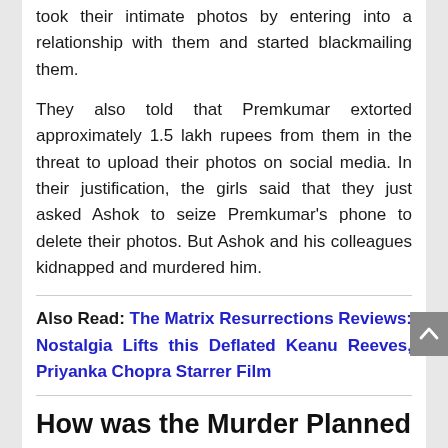took their intimate photos by entering into a relationship with them and started blackmailing them.
They also told that Premkumar extorted approximately 1.5 lakh rupees from them in the threat to upload their photos on social media. In their justification, the girls said that they just asked Ashok to seize Premkumar's phone to delete their photos. But Ashok and his colleagues kidnapped and murdered him.
Also Read: The Matrix Resurrections Reviews: Nostalgia Lifts this Deflated Keanu Reeves, Priyanka Chopra Starrer Film
How was the Murder Planned
When the girls could not take it any longer, they enlisted the help of their friend Ashok and informed him about their sufferings. The three of them planned